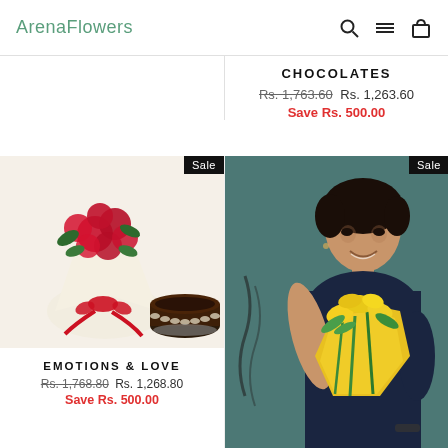ArenaFlowers
CHOCOLATES
Rs. 1,763.60  Rs. 1,263.60
Save Rs. 500.00
[Figure (photo): Flower bouquet of red roses with a chocolate cake and red ribbon - product image for Emotions & Love]
Sale
EMOTIONS & LOVE
Rs. 1,768.80  Rs. 1,268.80
Save Rs. 500.00
[Figure (photo): Woman holding yellow flower bouquet, smiling, with teal background - product photo]
Sale